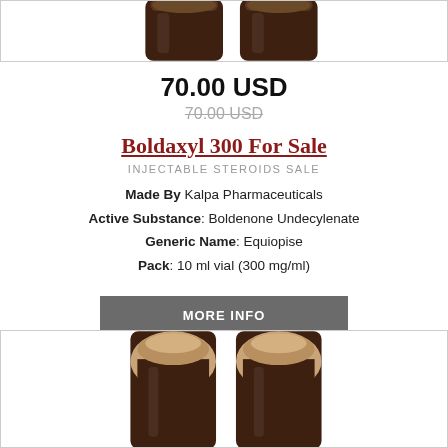[Figure (photo): Two dark brown pharmaceutical vials (top portion visible, cropped at top of page)]
70.00 USD
70.00 USD (strikethrough, old price)
Boldaxyl 300 For Sale
INJECTABLE STEROIDS SALE
Made By Kalpa Pharmaceuticals
Active Substance: Boldenone Undecylenate
Generic Name: Equiopise
Pack: 10 ml vial (300 mg/ml)
MORE INFO
Amount  1  BUY NOW
[Figure (photo): Two brown pharmaceutical vials with beige/tan caps, bottom portion of product image]